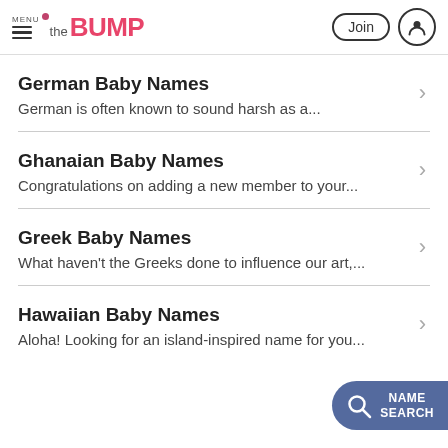MENU | the BUMP | Join | [user icon]
German Baby Names — German is often known to sound harsh as a...
Ghanaian Baby Names — Congratulations on adding a new member to your...
Greek Baby Names — What haven't the Greeks done to influence our art,...
Hawaiian Baby Names — Aloha! Looking for an island-inspired name for you...